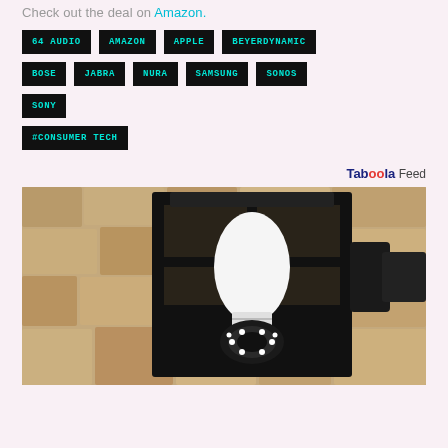Check out the deal on Amazon.
64 AUDIO
AMAZON
APPLE
BEYERDYNAMIC
BOSE
JABRA
NURA
SAMSUNG
SONOS
SONY
#CONSUMER TECH
Taboola Feed
[Figure (photo): Outdoor wall lantern light fixture with a security camera bulb replacement installed inside a black iron lantern frame mounted on a textured stone wall.]